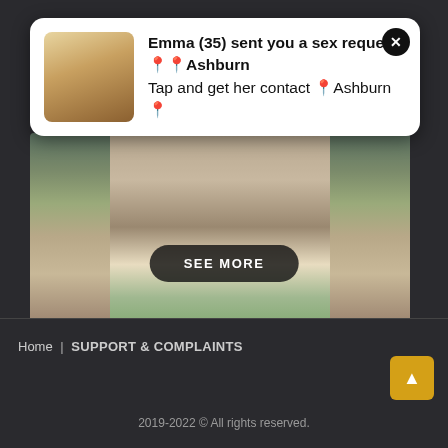[Figure (photo): A young woman with long brown hair sitting at a desk holding a pen to her mouth, looking up, with papers on the desk and wooden cabinets in background]
[Figure (photo): Notification popup with avatar thumbnail of blonde woman. Text reads: Emma (35) sent you a sex request in Ashburn. Tap and get her contact in Ashburn.]
Emma (35) sent you a sex request 📍📍Ashburn
Tap and get her contact 📍Ashburn 📍
SEE MORE
Home  SUPPORT & COMPLAINTS
2019-2022 © All rights reserved.